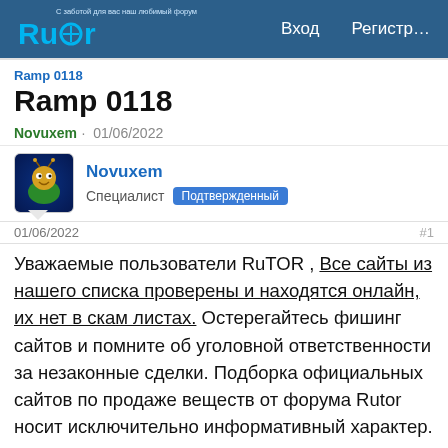Rutor — Вход — Регистр…
Ramp 0118
Ramp 0118
Novuxem · 01/06/2022
Novuxem Специалист Подтвержденный
01/06/2022 #1
Уважаемые пользователи RuTOR , Все сайты из нашего списка проверены и находятся онлайн, их нет в скам листах. Остерегайтесь фишинг сайтов и помните об уголовной ответственности за незаконные сделки. Подборка официальных сайтов по продаже веществ от форума Rutor носит исключительно информативный характер.